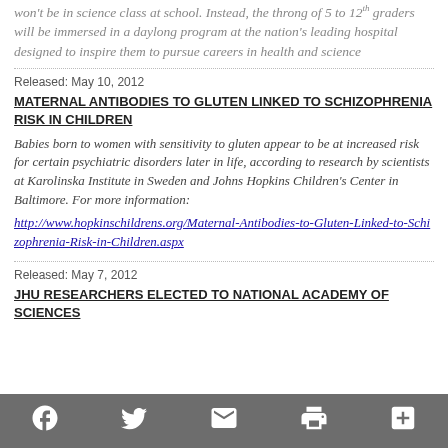won't be in science class at school. Instead, the throng of 5 to 12th graders will be immersed in a daylong program at the nation's leading hospital designed to inspire them to pursue careers in health and science
Released: May 10, 2012
MATERNAL ANTIBODIES TO GLUTEN LINKED TO SCHIZOPHRENIA RISK IN CHILDREN
Babies born to women with sensitivity to gluten appear to be at increased risk for certain psychiatric disorders later in life, according to research by scientists at Karolinska Institute in Sweden and Johns Hopkins Children's Center in Baltimore. For more information:
http://www.hopkinschildrens.org/Maternal-Antibodies-to-Gluten-Linked-to-Schizophrenia-Risk-in-Children.aspx
Released: May 7, 2012
JHU RESEARCHERS ELECTED TO NATIONAL ACADEMY OF SCIENCES
Facebook Twitter Email Print More